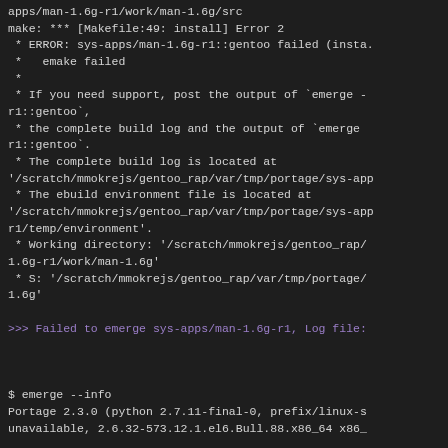apps/man-1.6g-r1/work/man-1.6g/src
make: *** [Makefile:49: install] Error 2
 * ERROR: sys-apps/man-1.6g-r1::gentoo failed (insta.
 *   emake failed
 *
 * If you need support, post the output of `emerge -
r1::gentoo`,
 * the complete build log and the output of `emerge
r1::gentoo`.
 * The complete build log is located at
'/scratch/mmokrejs/gentoo_rap/var/tmp/portage/sys-app
 * The ebuild environment file is located at
'/scratch/mmokrejs/gentoo_rap/var/tmp/portage/sys-app
r1/temp/environment'.
 * Working directory: '/scratch/mmokrejs/gentoo_rap/
1.6g-r1/work/man-1.6g'
 * S: '/scratch/mmokrejs/gentoo_rap/var/tmp/portage/
1.6g'

>>> Failed to emerge sys-apps/man-1.6g-r1, Log file:


$ emerge --info
Portage 2.3.0 (python 2.7.11-final-0, prefix/linux-s
unavailable, 2.6.32-573.12.1.el6.Bull.88.x86_64 x86_
========================================
System uname: Linux-2.6.32-573.12.1.el6.Bull.88.x86_
 CPU E5-2670 0 @ 2.60GHz-with-redhat-6.4-Santiago
KiB Mem:   131942764 total, 124651268 free
KiB S      85500100 total   85470284 f